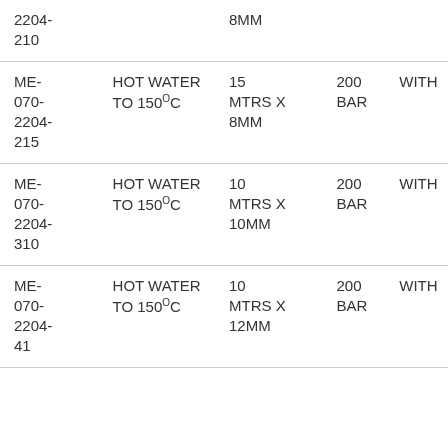| 2204-210 |  | 8MM |  |  |
| ME-070-2204-215 | HOT WATER TO 150°C | 15 MTRS X 8MM | 200 BAR | WITH |
| ME-070-2204-310 | HOT WATER TO 150°C | 10 MTRS X 10MM | 200 BAR | WITH |
| ME-070-2204-410 | HOT WATER TO 150°C | 10 MTRS X 12MM | 200 BAR | WITH |